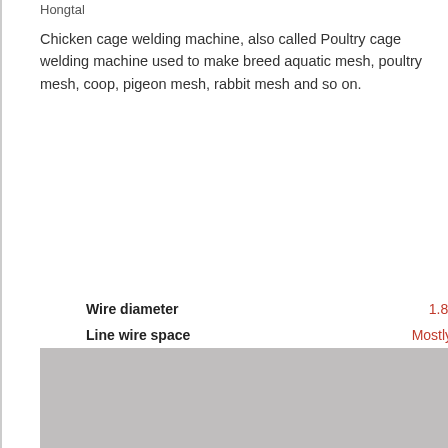Hongtal
Chicken cage welding machine, also called Poultry cage welding machine used to make breed aquatic mesh, poultry mesh, coop, pigeon mesh, rabbit mesh and so on.
| Specification | Value |
| --- | --- |
| Wire diameter | 1.8-3mm |
| Line wire space | Mostly 50-3... |
| Cross wire space | Min.20mm o... |
| Welding speed | 50-80 time... |
| Welding point | 16pcs/25pcs |
| Welding transformer | 125kva*2/3pcs |
| Machine size | 5.4*2.1*1.8m |
| Weight | 2.5T |
[Figure (photo): Gray placeholder image of the chicken cage welding machine]